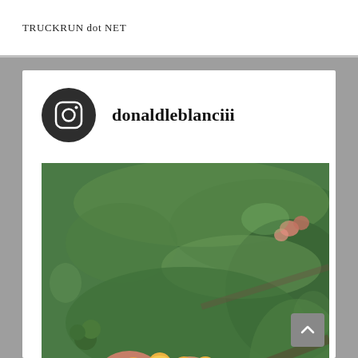TRUCKRUN dot NET
donaldleblanciii
[Figure (photo): Close-up photograph of yellow and orange tubular flowers (possibly Ixora or Lantana) clustered together with a blurred green foliage background. Small green buds visible on the left side.]